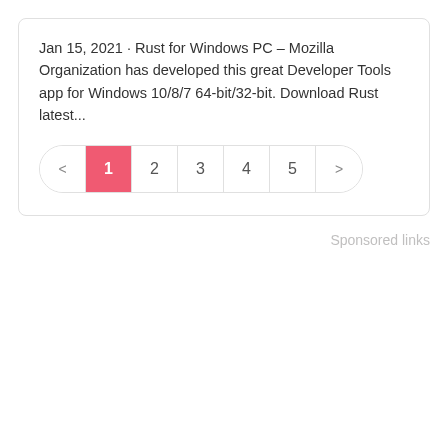Jan 15, 2021 · Rust for Windows PC – Mozilla Organization has developed this great Developer Tools app for Windows 10/8/7 64-bit/32-bit. Download Rust latest...
[Figure (other): Pagination control with left arrow, page numbers 1 (active/highlighted in pink), 2, 3, 4, 5, and right arrow]
Sponsored links